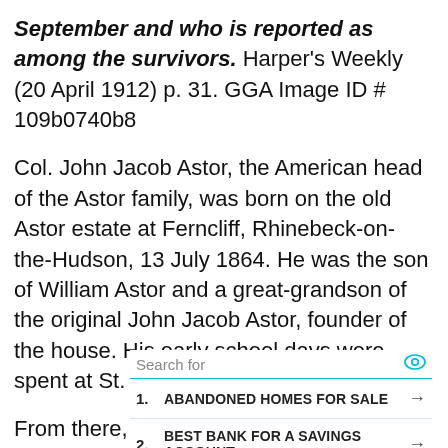September and who is reported as among the survivors. Harper's Weekly (20 April 1912) p. 31. GGA Image ID # 109b0740b8
Col. John Jacob Astor, the American head of the Astor family, was born on the old Astor estate at Ferncliff, Rhinebeck-on-the-Hudson, 13 July 1864. He was the son of William Astor and a great-grandson of the original John Jacob Astor, founder of the house. His early school days were spent at St. Paul's, Concord, N. H.
From there,  he went to Harvard, from which he
[Figure (other): Advertisement widget with search bar, two sponsored results: 1. ABANDONED HOMES FOR SALE, 2. BEST BANK FOR A SAVINGS ACCOUNT, with arrow icons and a play button icon at the bottom.]